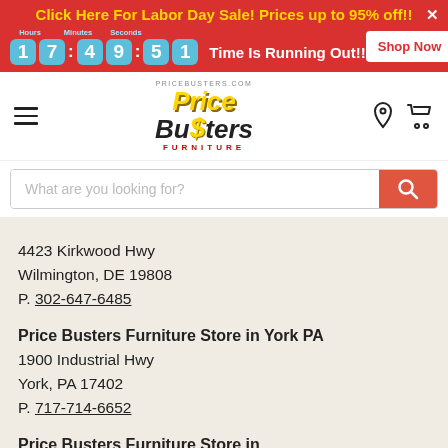Click Here For Labor Day Sale! Prices up to 95% off!! 17:49:51 Time Is Running Out!! Shop Now
[Figure (logo): Price Busters Furniture logo with yellow text, pricebusters.com URL above]
[Figure (screenshot): Search bar with placeholder 'What are you looking for?' and red search button]
4423 Kirkwood Hwy
Wilmington, DE 19808
P. 302-647-6485
Price Busters Furniture Store in York PA
1900 Industrial Hwy
York, PA 17402
P. 717-714-6652
Price Busters Furniture Store in Mechanicsburg/Harrisburg